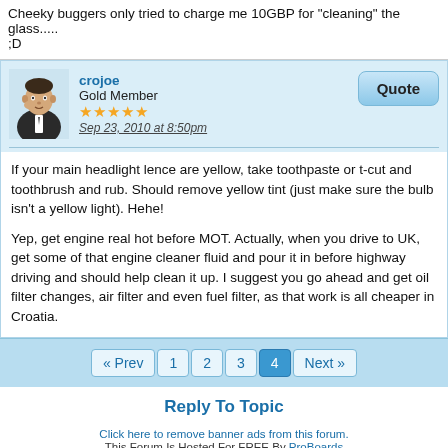Cheeky buggers only tried to charge me 10GBP for "cleaning" the glass..... ;D
crojoe
Gold Member
Sep 23, 2010 at 8:50pm
If your main headlight lence are yellow, take toothpaste or t-cut and toothbrush and rub. Should remove yellow tint (just make sure the bulb isn't a yellow light). Hehe!
Yep, get engine real hot before MOT. Actually, when you drive to UK, get some of that engine cleaner fluid and pour it in before highway driving and should help clean it up. I suggest you go ahead and get oil filter changes, air filter and even fuel filter, as that work is all cheaper in Croatia.
« Prev  1  2  3  4  Next »
Reply To Topic
Click here to remove banner ads from this forum.
This Forum Is Hosted For FREE By ProBoards
Get Your Own Free Forum!
Terms of Service  Privacy  Cookies  FTC Disclosure  Report Abuse  Do Not Sell My Personal Information